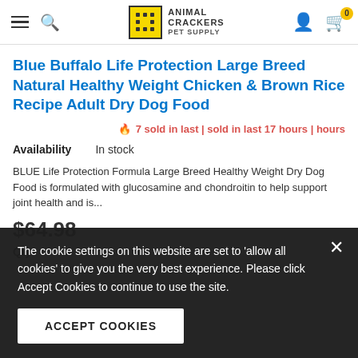Animal Crackers Pet Supply — navigation header with hamburger menu, search, logo, user icon, cart icon (badge: 0)
Blue Buffalo Life Protection Large Breed Natural Healthy Weight Chicken & Brown Rice Recipe Adult Dry Dog Food
🔥 7 sold in last | sold in last 17 hours | hours
Availability: In stock
BLUE Life Protection Formula Large Breed Healthy Weight Dry Dog Food is formulated with glucosamine and chondroitin to help support joint health and is...
$64.98
Qty
The cookie settings on this website are set to 'allow all cookies' to give you the very best experience. Please click Accept Cookies to continue to use the site.